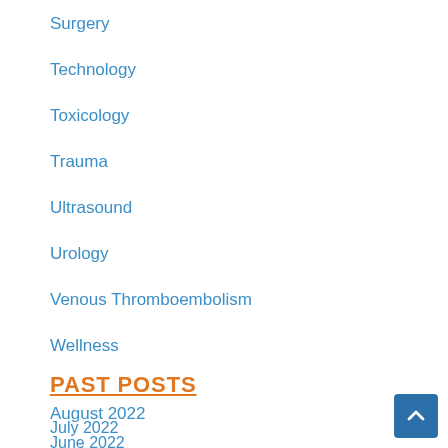Surgery
Technology
Toxicology
Trauma
Ultrasound
Urology
Venous Thromboembolism
Wellness
PAST POSTS
August 2022
July 2022
June 2022